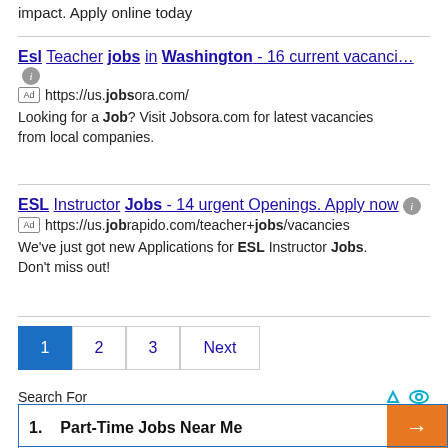impact. Apply online today
Esl Teacher jobs in Washington - 16 current vacanci…  https://us.jobsora.com/  Looking for a Job? Visit Jobsora.com for latest vacancies from local companies.
ESL Instructor Jobs - 14 urgent Openings. Apply now  https://us.jobrapido.com/teacher+jobs/vacancies  We've just got new Applications for ESL Instructor Jobs. Don't miss out!
1  2  3  Next
Search For
1.  Part-Time Jobs Near Me
2.  Part-Time Job for Retirees